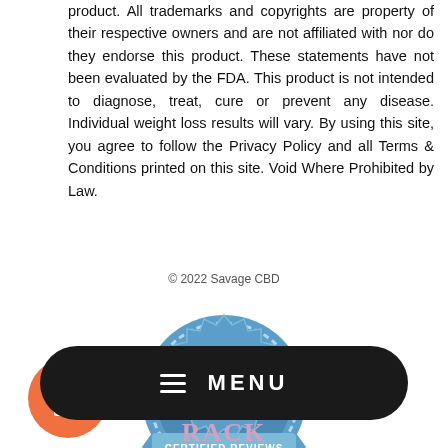product. All trademarks and copyrights are property of their respective owners and are not affiliated with nor do they endorse this product. These statements have not been evaluated by the FDA. This product is not intended to diagnose, treat, cure or prevent any disease. Individual weight loss results will vary. By using this site, you agree to follow the Privacy Policy and all Terms & Conditions printed on this site. Void Where Prohibited by Law.
© 2022 Savage CBD
[Figure (illustration): Blue circular badge/seal with text '1,436' in large white font, five gold stars, and a ribbon banner reading 'CERTIFIED REVIEWS']
[Figure (illustration): Orange circular button with a white gift box icon]
[Figure (screenshot): Dark rounded rectangle navigation menu bar with hamburger menu icon and 'MENU' text in white]
[Figure (logo): Partial logo at bottom of page showing 'RACK' letters]